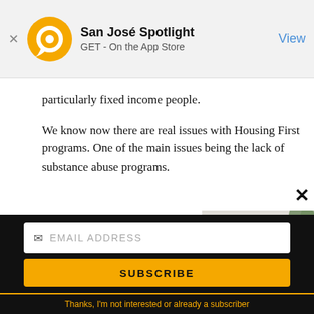[Figure (screenshot): App Store banner for San José Spotlight app with orange circular logo, title 'San José Spotlight', subtitle 'GET - On the App Store', and 'View' link on right]
particularly fixed income people.
We know now there are real issues with Housing First programs. One of the main issues being the lack of substance abuse programs.
[Figure (advertisement): San José Spotlight advertisement banner. Logo with 'spotlight' text and dot. Tagline: 'Where San Jose locals start the day.' URL: sanjosespotlight.com. Right side shows tablet/coffee photo.]
[Figure (screenshot): Email subscription form with EMAIL ADDRESS field, SUBSCRIBE button in gold/yellow, and 'Thanks, I'm not interested or already a subscriber' link at bottom]
Thanks, I'm not interested or already a subscriber